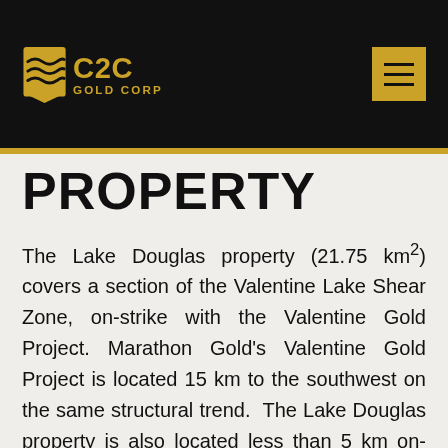[Figure (logo): C2C Gold Corp logo — golden wave/shield emblem on left with 'C2C' in large gold letters and 'GOLD CORP' beneath, on black background]
PROPERTY
The Lake Douglas property (21.75 km²) covers a section of the Valentine Lake Shear Zone, on-strike with the Valentine Gold Project. Marathon Gold's Valentine Gold Project is located 15 km to the southwest on the same structural trend.  The Lake Douglas property is also located less than 5 km on-strike from a number of gold prospects on adjacent mineral claims being explored by Canterra